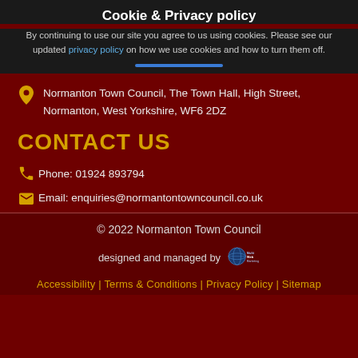Cookie & Privacy policy
By continuing to use our site you agree to us using cookies. Please see our updated privacy policy on how we use cookies and how to turn them off.
Normanton Town Council, The Town Hall, High Street, Normanton, West Yorkshire, WF6 2DZ
CONTACT US
Phone: 01924 893794
Email: enquiries@normantontowncouncil.co.uk
© 2022 Normanton Town Council
designed and managed by MultiWebMarketing
Accessibility | Terms & Conditions | Privacy Policy | Sitemap